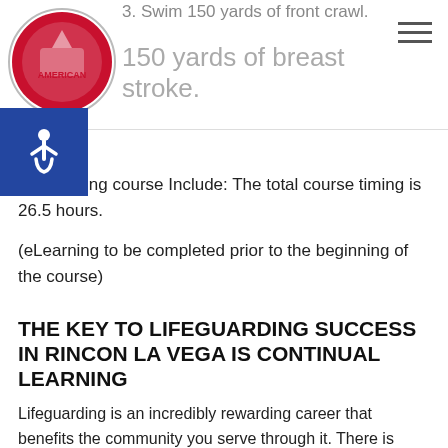3. Swim 150 yards of front crawl.
4. 150 yards of breast stroke.
ard Training course Include: The total course timing is 26.5 hours.
(eLearning to be completed prior to the beginning of the course)
THE KEY TO LIFEGUARDING SUCCESS IN RINCON LA VEGA IS CONTINUAL LEARNING
Lifeguarding is an incredibly rewarding career that benefits the community you serve through it. There is potential for lifeguarding to be more than just a summer job for students; lifeguards are required at many levels. From your neighborhood pool to 5-star resorts in the Caribbean, this career path can take you to new and exciting heights. Some lifeguards have...